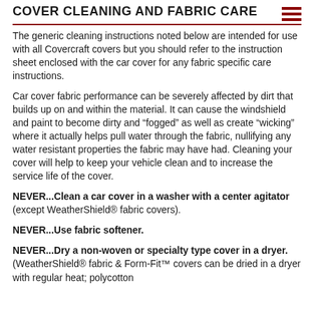Cover Cleaning and Fabric Care
The generic cleaning instructions noted below are intended for use with all Covercraft covers but you should refer to the instruction sheet enclosed with the car cover for any fabric specific care instructions.
Car cover fabric performance can be severely affected by dirt that builds up on and within the material. It can cause the windshield and paint to become dirty and “fogged” as well as create “wicking” where it actually helps pull water through the fabric, nullifying any water resistant properties the fabric may have had. Cleaning your cover will help to keep your vehicle clean and to increase the service life of the cover.
NEVER...Clean a car cover in a washer with a center agitator (except WeatherShield® fabric covers).
NEVER...Use fabric softener.
NEVER...Dry a non-woven or specialty type cover in a dryer.(WeatherShield® fabric & Form-Fit™ covers can be dried in a dryer with regular heat; polycotton